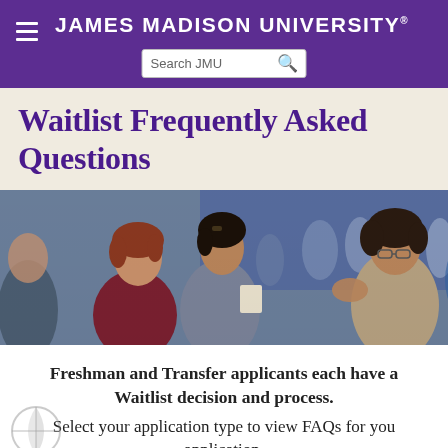JAMES MADISON UNIVERSITY.
Waitlist Frequently Asked Questions
[Figure (photo): Group of people at a university event; three women in the foreground appear to be in conversation, with a crowd visible in the background.]
Freshman and Transfer applicants each have a Waitlist decision and process.
Select your application type to view FAQs for you application.